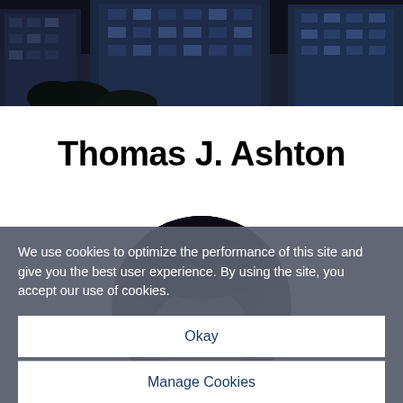[Figure (photo): Dark photograph of city skyscrapers viewed from below, night or dusk, tall glass buildings against dark sky with some trees visible]
Thomas J. Ashton
[Figure (photo): Circular profile photo of a person, partially visible, upper portion of head showing dark hair against white background]
We use cookies to optimize the performance of this site and give you the best user experience. By using the site, you accept our use of cookies.
Okay
Manage Cookies